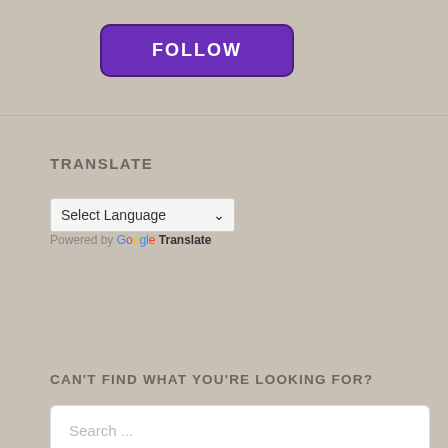FOLLOW
TRANSLATE
Select Language
Powered by Google Translate
CAN'T FIND WHAT YOU'RE LOOKING FOR?
Search ...